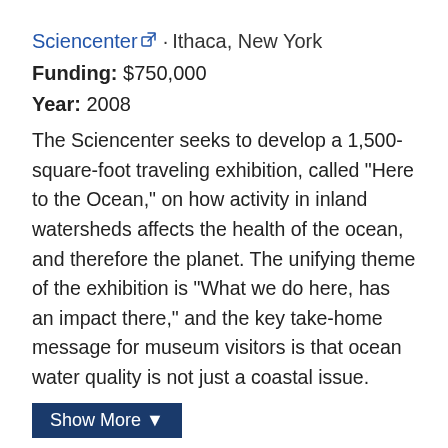Sciencenter · Ithaca, New York
Funding: $750,000
Year: 2008
The Sciencenter seeks to develop a 1,500-square-foot traveling exhibition, called "Here to the Ocean," on how activity in inland watersheds affects the health of the ocean, and therefore the planet. The unifying theme of the exhibition is "What we do here, has an impact there," and the key take-home message for museum visitors is that ocean water quality is not just a coastal issue.
Show More ▼